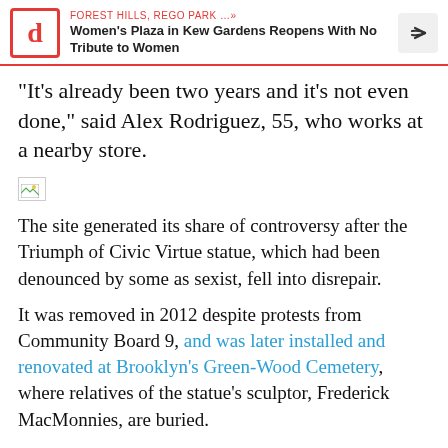FOREST HILLS, REGO PARK …» | Women's Plaza in Kew Gardens Reopens With No Tribute to Women
"It's already been two years and it's not even done," said Alex Rodriguez, 55, who works at a nearby store.
[Figure (photo): Broken/missing image placeholder]
The site generated its share of controversy after the Triumph of Civic Virtue statue, which had been denounced by some as sexist, fell into disrepair.
It was removed in 2012 despite protests from Community Board 9, and was later installed and renovated at Brooklyn's Green-Wood Cemetery, where relatives of the statue's sculptor, Frederick MacMonnies, are buried.
In 2015, the city opened a bid for the proposed plaza